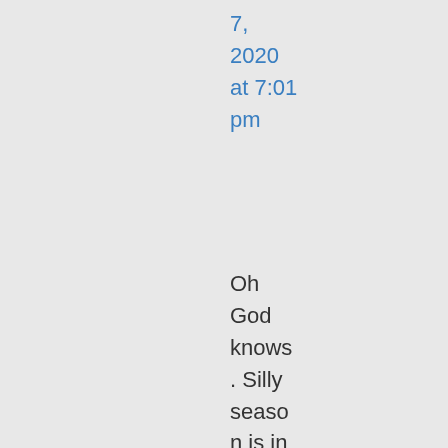7, 2020 at 7:01 pm
Oh God knows. Silly season is in full flight here. The Woman in